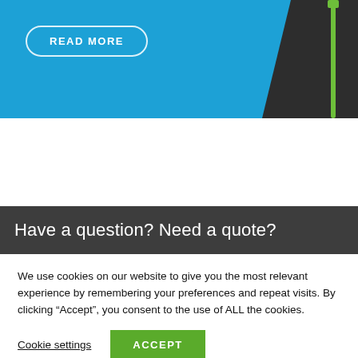[Figure (photo): Hero image showing a blue background with a dark jacket/fleece with a green zipper visible on the right side. A 'READ MORE' button with white border is overlaid on the blue area.]
Have a question? Need a quote?
We use cookies on our website to give you the most relevant experience by remembering your preferences and repeat visits. By clicking “Accept”, you consent to the use of ALL the cookies.
Cookie settings
ACCEPT